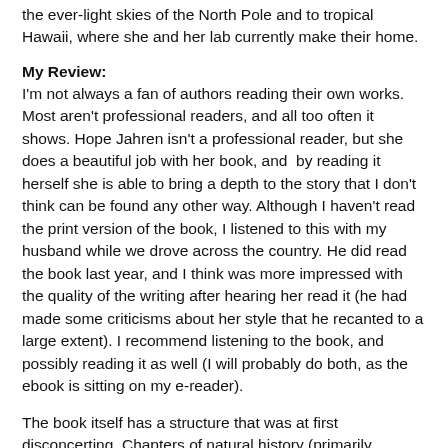the ever-light skies of the North Pole and to tropical Hawaii, where she and her lab currently make their home.
My Review:
I'm not always a fan of authors reading their own works. Most aren't professional readers, and all too often it shows. Hope Jahren isn't a professional reader, but she does a beautiful job with her book, and  by reading it herself she is able to bring a depth to the story that I don't think can be found any other way. Although I haven't read the print version of the book, I listened to this with my husband while we drove across the country. He did read the book last year, and I think was more impressed with the quality of the writing after hearing her read it (he had made some criticisms about her style that he recanted to a large extent). I recommend listening to the book, and possibly reading it as well (I will probably do both, as the ebook is sitting on my e-reader).
The book itself has a structure that was at first disconcerting. Chapters of natural history (primarily regarding the trees that are the main object of her study) alternate with the longer chapters that form the memoir. Once I figured out what was